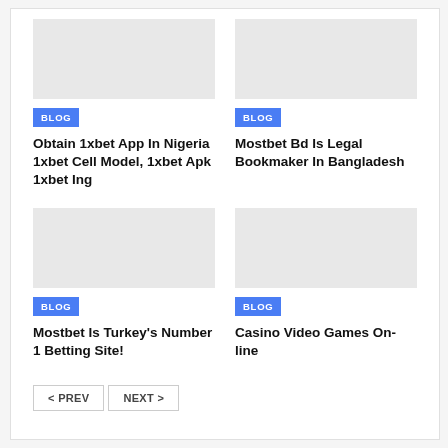BLOG — Obtain 1xbet App In Nigeria 1xbet Cell Model, 1xbet Apk 1xbet Ing
BLOG — Mostbet Bd Is Legal Bookmaker In Bangladesh
BLOG — Mostbet Is Turkey's Number 1 Betting Site!
BLOG — Casino Video Games On-line
< PREV   NEXT >